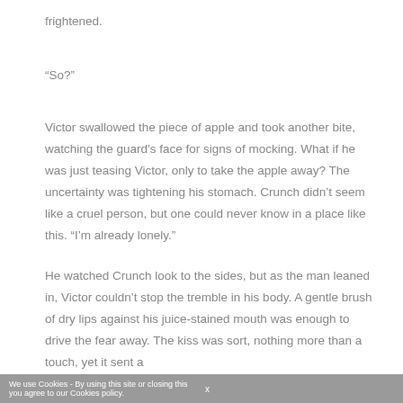frightened.
“So?”
Victor swallowed the piece of apple and took another bite, watching the guard’s face for signs of mocking. What if he was just teasing Victor, only to take the apple away? The uncertainty was tightening his stomach. Crunch didn’t seem like a cruel person, but one could never know in a place like this. “I’m already lonely.”
He watched Crunch look to the sides, but as the man leaned in, Victor couldn’t stop the tremble in his body. A gentle brush of dry lips against his juice-stained mouth was enough to drive the fear away. The kiss was sort, nothing more than a touch, yet it sent a
We use Cookies - By using this site or closing this you agree to our Cookies policy.   x